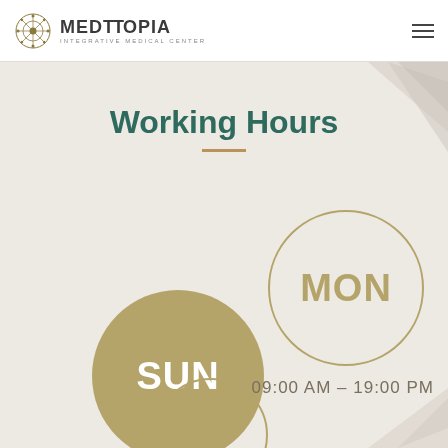MEDTOPIA INTEGRATIVE MEDICAL CENTER
Working Hours
[Figure (infographic): SUN day circle (filled olive/tan) with text SUN, labeled CLOSED below]
[Figure (infographic): MON day circle (outline) with text MON, hours 09:00 AM - 19:00 PM below]